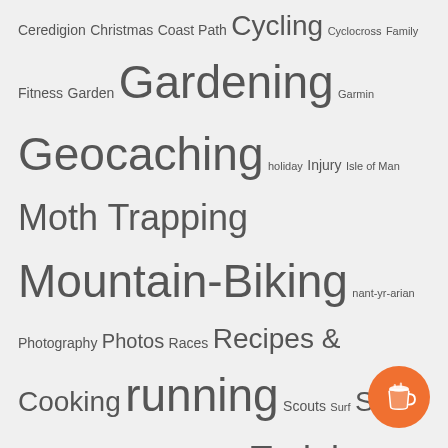Ceredigion Christmas Coast Path Cycling Cyclocross Family Fitness Garden Gardening Garmin Geocaching holiday Injury Isle of Man Moth Trapping Mountain-Biking nant-yr-arian Photography Photos Races Recipes & Cooking running Scouts Surf Surf Ski swimming Technology Training Travel Triathlon Triathlon Training Turbo Trainer video Wales Weather wind Windsurf Windsurfing Ynyslas
CATEGORIES
Camping (35)
Coast Path (66)
Community (126)
Family (887)
Health (4)